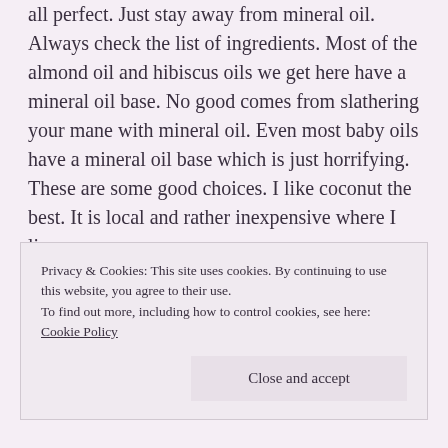all perfect. Just stay away from mineral oil. Always check the list of ingredients. Most of the almond oil and hibiscus oils we get here have a mineral oil base. No good comes from slathering your mane with mineral oil. Even most baby oils have a mineral oil base which is just horrifying. These are some good choices. I like coconut the best. It is local and rather inexpensive where I live.
1. Coconut oil
2. Olive oil
3. Almond oil
4. Argan oil (partially visible)
Privacy & Cookies: This site uses cookies. By continuing to use this website, you agree to their use.
To find out more, including how to control cookies, see here: Cookie Policy
Close and accept